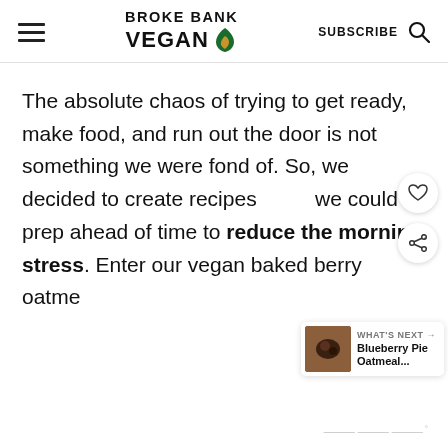BROKE BANK VEGAN | SUBSCRIBE
The absolute chaos of trying to get ready, make food, and run out the door is not something we were fond of. So, we decided to create recipes we could prep ahead of time to reduce the morning stress. Enter our vegan baked berry oatme...